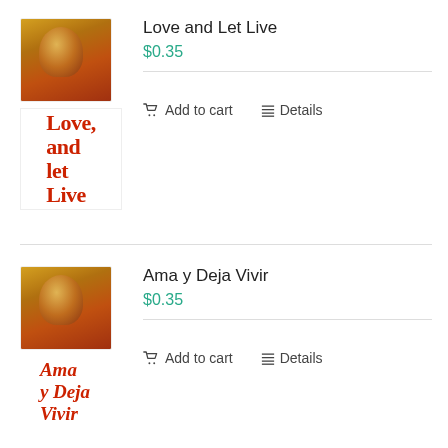[Figure (illustration): Book cover image for 'Love and Let Live' showing a close-up face photo and stylized red bold text logo]
Love and Let Live
$0.35
Add to cart   Details
[Figure (illustration): Book cover image for 'Ama y Deja Vivir' showing a close-up face photo and stylized red italic text logo]
Ama y Deja Vivir
$0.35
Add to cart   Details